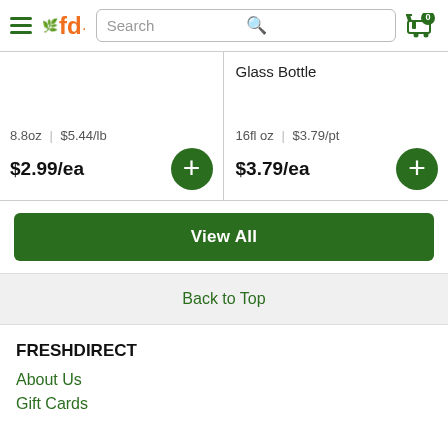FreshDirect navigation header with search bar and cart icon (0 items)
8.8oz | $5.44/lb
$2.99/ea
Glass Bottle
16fl oz | $3.79/pt
$3.79/ea
View All
Back to Top
FRESHDIRECT
About Us
Gift Cards